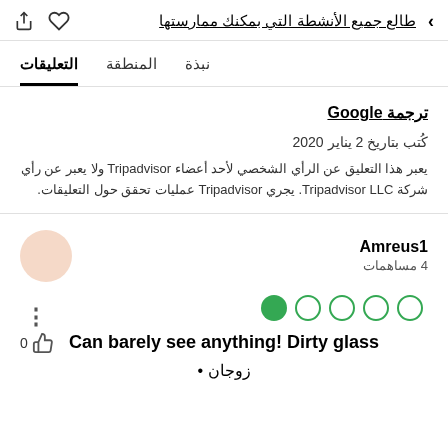طالع جميع الأنشطة التي بمكنك ممارستها
نبذة   المنطقة   التعليقات
ترجمة Google
كُتب بتاريخ 2 يناير 2020
يعبر هذا التعليق عن الرأي الشخصي لأحد أعضاء Tripadvisor ولا يعبر عن رأي شركة Tripadvisor LLC. يجري Tripadvisor عمليات تحقق حول التعليقات.
Amreus1
4 مساهمات
[Figure (other): 1 filled green circle followed by 4 empty green circles — star/dot rating indicator showing 1 out of 5]
Can barely see anything! Dirty glass
زوجان